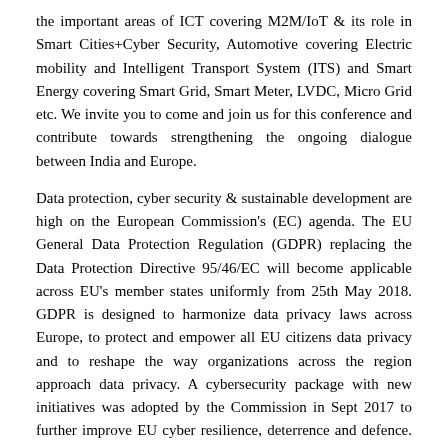the important areas of ICT covering M2M/IoT & its role in Smart Cities+Cyber Security, Automotive covering Electric mobility and Intelligent Transport System (ITS) and Smart Energy covering Smart Grid, Smart Meter, LVDC, Micro Grid etc. We invite you to come and join us for this conference and contribute towards strengthening the ongoing dialogue between India and Europe.
Data protection, cyber security & sustainable development are high on the European Commission's (EC) agenda. The EU General Data Protection Regulation (GDPR) replacing the Data Protection Directive 95/46/EC will become applicable across EU's member states uniformly from 25th May 2018. GDPR is designed to harmonize data privacy laws across Europe, to protect and empower all EU citizens data privacy and to reshape the way organizations across the region approach data privacy. A cybersecurity package with new initiatives was adopted by the Commission in Sept 2017 to further improve EU cyber resilience, deterrence and defence. European Union Agency for Network Information Security (ENISA) is strengthened further to play a key role in the EU's cybersecurity landscape. Recently, CEN, CENELEC and ETSI, together with ENISA, organized a joint conference to discuss and provide key recommendations and inputs to make the proposed regulation more effective and